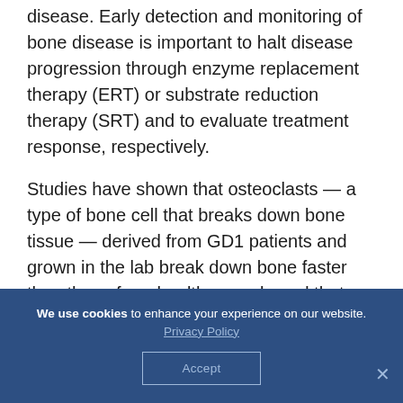disease. Early detection and monitoring of bone disease is important to halt disease progression through enzyme replacement therapy (ERT) or substrate reduction therapy (SRT) and to evaluate treatment response, respectively.
Studies have shown that osteoclasts — a type of bone cell that breaks down bone tissue — derived from GD1 patients and grown in the lab break down bone faster than those from healthy people and that
We use cookies to enhance your experience on our website. Privacy Policy
Accept